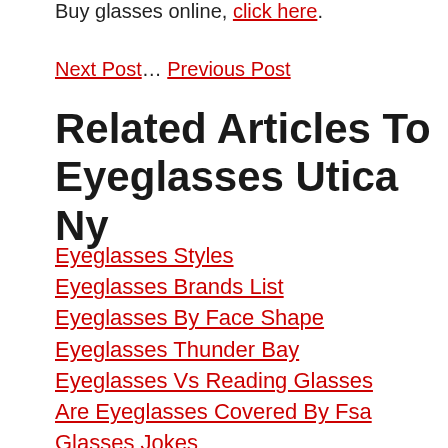Buy glasses online, click here.
Next Post… Previous Post
Related Articles To Eyeglasses Utica Ny
Eyeglasses Styles
Eyeglasses Brands List
Eyeglasses By Face Shape
Eyeglasses Thunder Bay
Eyeglasses Vs Reading Glasses
Are Eyeglasses Covered By Fsa
Glasses Jokes
Eyeglasses Zachary La
Eyeglasses Stores Around Me